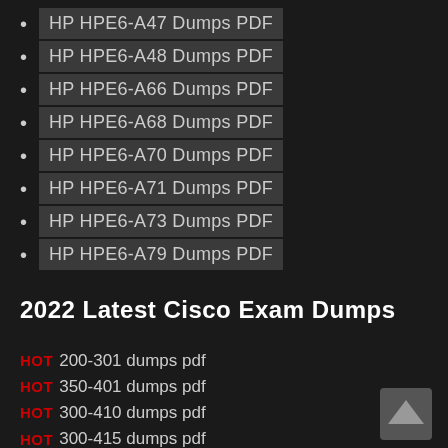HP HPE6-A47 Dumps PDF
HP HPE6-A48 Dumps PDF
HP HPE6-A66 Dumps PDF
HP HPE6-A68 Dumps PDF
HP HPE6-A70 Dumps PDF
HP HPE6-A71 Dumps PDF
HP HPE6-A73 Dumps PDF
HP HPE6-A79 Dumps PDF
2022 Latest Cisco Exam Dumps
HOT 200-301 dumps pdf
HOT 350-401 dumps pdf
HOT 300-410 dumps pdf
HOT 300-415 dumps pdf
HOT 300-420 dumps pdf